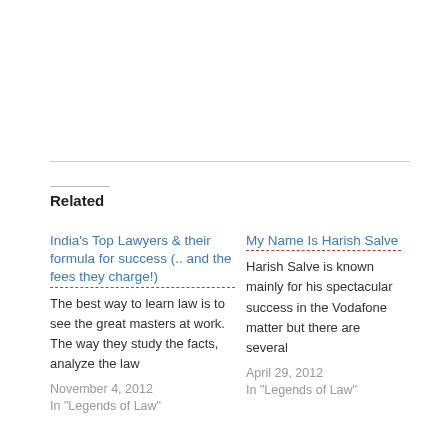Related
India's Top Lawyers & their formula for success (.. and the fees they charge!)
The best way to learn law is to see the great masters at work. The way they study the facts, analyze the law
November 4, 2012
In "Legends of Law"
My Name Is Harish Salve
Harish Salve is known mainly for his spectacular success in the Vodafone matter but there are several
April 29, 2012
In "Legends of Law"